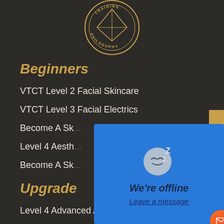[Figure (logo): Training Philosophy circular gold logo with geometric diamond design and text TRAINING PHILOSOPHY around the circle]
Beginners
VTCT Level 2 Facial Skincare
VTCT Level 3 Facial Electrics
Become A Sk...
Level 4 Aesth...
Become A Sk...
Upgrade
Level 4 Advanced Aesthetic Skin
[Figure (screenshot): We're offline chat popup overlay with sleeping face emoji, text We're offline and Leave a message link, with orange email button in corner]